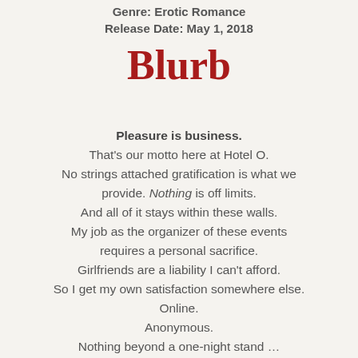Genre: Erotic Romance
Release Date: May 1, 2018
Blurb
Pleasure is business.
That’s our motto here at Hotel O.
No strings attached gratification is what we provide. Nothing is off limits.
And all of it stays within these walls.
My job as the organizer of these events requires a personal sacrifice.
Girlfriends are a liability I can’t afford.
So I get my own satisfaction somewhere else.
Online.
Anonymous.
Nothing beyond a one-night stand …